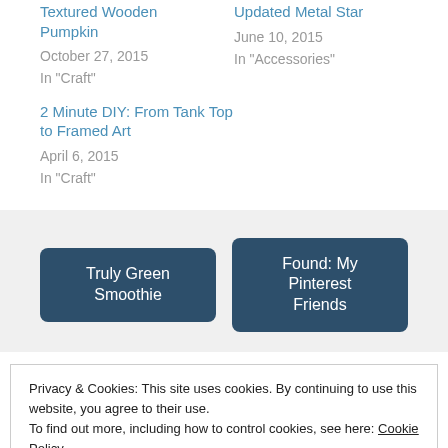Textured Wooden Pumpkin
October 27, 2015
In "Craft"
Updated Metal Star
June 10, 2015
In "Accessories"
2 Minute DIY: From Tank Top to Framed Art
April 6, 2015
In "Craft"
Truly Green Smoothie
Found: My Pinterest Friends
Privacy & Cookies: This site uses cookies. By continuing to use this website, you agree to their use.
To find out more, including how to control cookies, see here: Cookie Policy
Close and accept
thegarsontwins